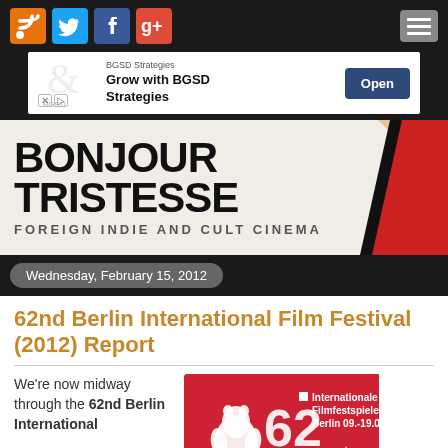[Figure (screenshot): Website navigation bar with social media icons (RSS orange, Twitter blue, Facebook blue, Google+ red) and a hamburger menu button on the right]
[Figure (infographic): Advertisement banner for BGSD Strategies with 'Grow with BGSD Strategies' text and an Open button]
[Figure (logo): Bonjour Tristesse website banner - Foreign Indie and Cult Cinema logo with bold black text on cream background and red graphic on right]
Wednesday, February 15, 2012
62nd Berlin International Film Festival (2012) Report
We're now midway through the 62nd Berlin International
[Figure (photo): 62nd Berlinale (Berlin International Film Festival) red official logo/poster with bear symbol and text 'Internationale Filmfestspiele Berlin']